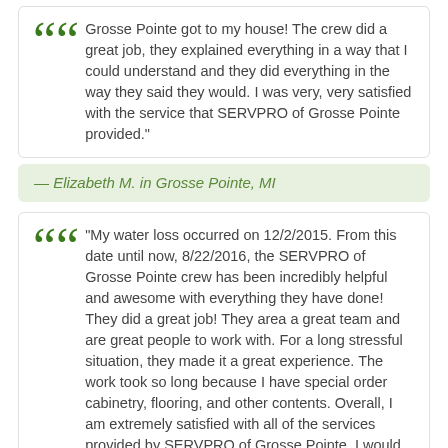Grosse Pointe got to my house! The crew did a great job, they explained everything in a way that I could understand and they did everything in the way they said they would. I was very, very satisfied with the service that SERVPRO of Grosse Pointe provided."
— Elizabeth M. in Grosse Pointe, MI
"My water loss occurred on 12/2/2015. From this date until now, 8/22/2016, the SERVPRO of Grosse Pointe crew has been incredibly helpful and awesome with everything they have done! They did a great job! They area a great team and are great people to work with. For a long stressful situation, they made it a great experience. The work took so long because I have special order cabinetry, flooring, and other contents. Overall, I am extremely satisfied with all of the services provided by SERVPRO of Grosse Pointe. I would highly recommend them to my friends, family and colleagues!"